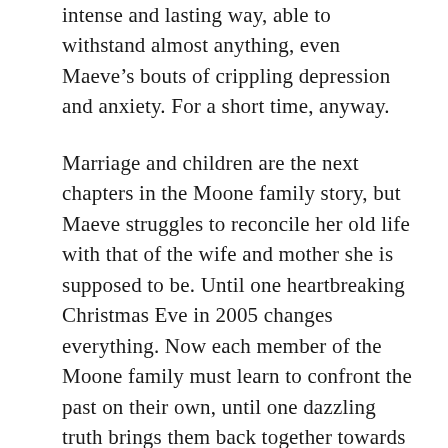intense and lasting way, able to withstand almost anything, even Maeve’s bouts of crippling depression and anxiety. For a short time, anyway.
Marriage and children are the next chapters in the Moone family story, but Maeve struggles to reconcile her old life with that of the wife and mother she is supposed to be. Until one heartbreaking Christmas Eve in 2005 changes everything. Now each member of the Moone family must learn to confront the past on their own, until one dazzling truth brings them back together towards a future that none of them could have predicted. Except perhaps Maeve herself.